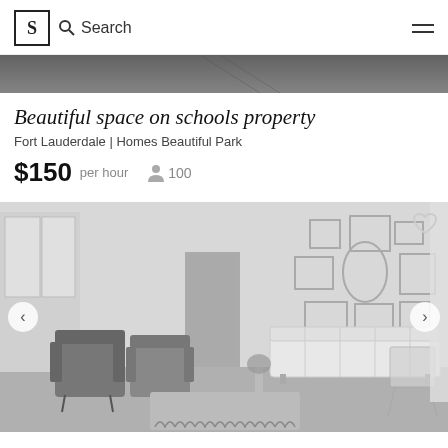S | Search
[Figure (photo): Partial banner photo at top of page showing an outdoor scene in grayscale]
Beautiful space on schools property
Fort Lauderdale | Homes Beautiful Park
$150 per hour   100
[Figure (photo): Interior room photo showing a white-walled room with decorative empty picture frames arranged on the wall, a tufted white sofa, two dark velvet armchairs, a wire chair, and an ornate coffee table in the foreground. Navigation arrows on left and right, heart icon top right.]